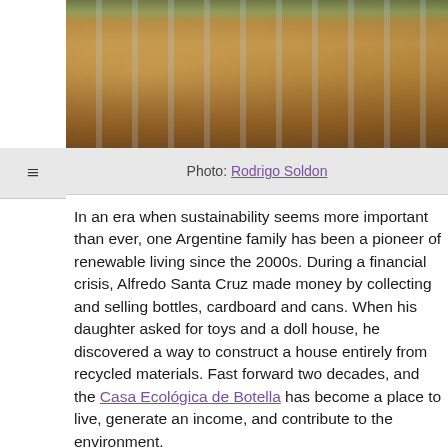[Figure (photo): Outdoor courtyard of an ecological house made from recycled bottles, showing walls constructed from plastic bottles, plants, pots, and a brick pathway under sunlight.]
Photo: Rodrigo Soldon
In an era when sustainability seems more important than ever, one Argentine family has been a pioneer of renewable living since the 2000s. During a financial crisis, Alfredo Santa Cruz made money by collecting and selling bottles, cardboard and cans. When his daughter asked for toys and a doll house, he discovered a way to construct a house entirely from recycled materials. Fast forward two decades, and the Casa Ecológica de Botella has become a place to live, generate an income, and contribute to the environment.